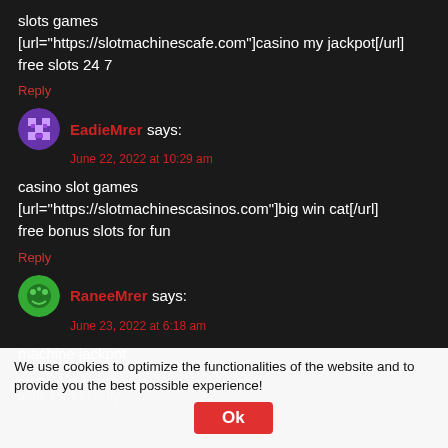slots games
[url="https://slotmachinescafe.com"]casino my jackpot[/url]
free slots 24 7
Reply
EadieMrer says:
June 22, 2022 at 10:29 am
casino slot games
[url="https://slotmachinescasinos.com"]big win cat[/url]
free bonus slots for fun
Reply
RaneeMrer says:
June 23, 2022 at 6:18 am
machine jackpot
We use cookies to optimize the functionalities of the website and to provide you the best possible experience!
money[/url]
slots for fun only